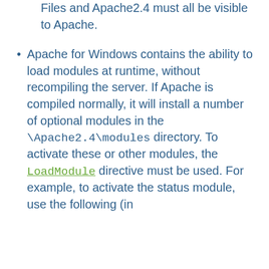Files and Apache2.4 must all be visible to Apache.
Apache for Windows contains the ability to load modules at runtime, without recompiling the server. If Apache is compiled normally, it will install a number of optional modules in the \Apache2.4\modules directory. To activate these or other modules, the LoadModule directive must be used. For example, to activate the status module, use the following (in